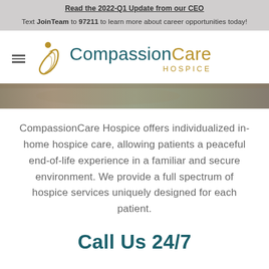Read the 2022-Q1 Update from our CEO
Text JoinTeam to 97211 to learn more about career opportunities today!
[Figure (logo): CompassionCare Hospice logo with stylized flame/leaf icon in gold, company name in teal and gold, HOSPICE in gold letterspacing]
[Figure (photo): Blurred background hero image stripe in muted brown/green tones]
CompassionCare Hospice offers individualized in-home hospice care, allowing patients a peaceful end-of-life experience in a familiar and secure environment. We provide a full spectrum of hospice services uniquely designed for each patient.
Call Us 24/7